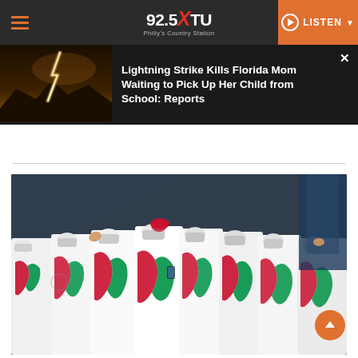92.5 XTU – Philly's Country Station | LISTEN
[Figure (screenshot): Notification banner showing lightning strike photo and headline: Lightning Strike Kills Florida Mom Waiting to Pick Up Her Child from School: Reports]
Lightning Strike Kills Florida Mom Waiting to Pick Up Her Child from School: Reports
[Figure (photo): Italian Olympic team athletes in white uniforms with Italian flag design and masks during Olympic opening ceremony parade]